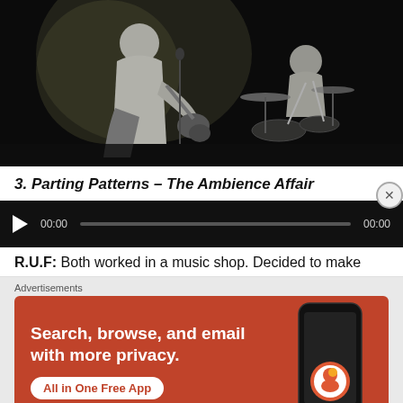[Figure (photo): Black and white concert photo showing two musicians on stage. A guitarist in the foreground and a drummer behind a drum kit in the background, lit by stage lighting.]
3. Parting Patterns – The Ambience Affair
[Figure (other): Audio player bar with play button, time display 00:00, progress track, and end time 00:00 on a dark background.]
R.U.F: Both worked in a music shop. Decided to make
Advertisements
[Figure (infographic): DuckDuckGo advertisement on orange/red background. Text reads: Search, browse, and email with more privacy. All in One Free App. Shows DuckDuckGo logo and stylized phone image.]